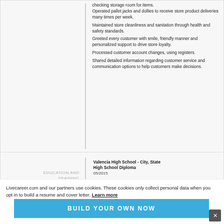Operated pallet jacks and dollies to receive store product deliveries many times per week.
Maintained store cleanliness and sanitation through health and safety standards.
Greeted every customer with smile, friendly manner and personalized support to drive store loyalty.
Processed customer account changes, using registers.
Shared detailed information regarding customer service and communication options to help customers make decisions.
EDUCATION AND TRAINING
Valencia High School - City, State
High School Diploma
05/2015
[Figure (screenshot): Blue call-to-action button with text 'BUILD YOUR OWN NOW']
Livecareer.com and our partners use cookies. These cookies only collect personal data when you opt in to build a resume and cover letter. Learn more